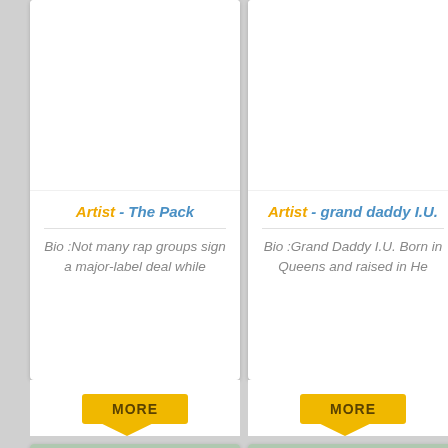[Figure (photo): White image placeholder for The Pack artist card]
Artist - The Pack
Bio :Not many rap groups sign a major-label deal while
MORE
[Figure (photo): White image placeholder for grand daddy I.U. artist card]
Artist - grand daddy I.U.
Bio :Grand Daddy I.U. Born in Queens and raised in He
MORE
[Figure (photo): Group photo showing rap group members, bottom left card]
[Figure (photo): Group photo showing rap group members, bottom right card]